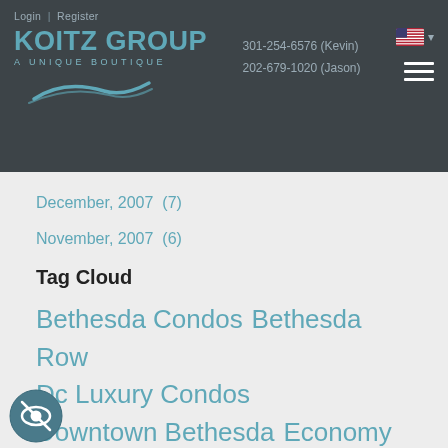Koitz Group - A Unique Boutique | Login | Register | 301-254-6576 (Kevin) | 202-679-1020 (Jason)
December, 2007  (7)
November, 2007  (6)
Tag Cloud
Bethesda Condos  Bethesda Row  Dc Luxury Condos  Downtown Bethesda  Economy  Greater Bethesda Maryland  Lending Industry  Movie Trailer  New Construction  Video  ...